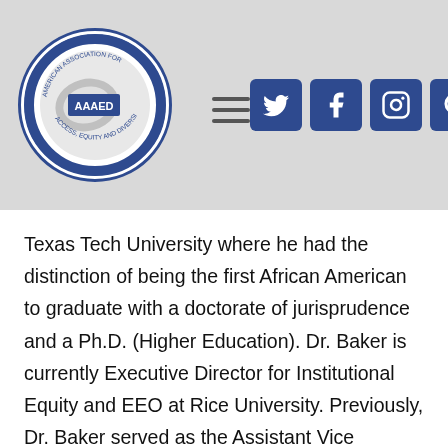AAAED - American Association for Access, Equity and Diversity logo with navigation and social media icons
Texas Tech University where he had the distinction of being the first African American to graduate with a doctorate of jurisprudence and a Ph.D. (Higher Education). Dr. Baker is currently Executive Director for Institutional Equity and EEO at Rice University. Previously, Dr. Baker served as the Assistant Vice Chancellor and Vice President of the Office of Equal Opportunity Services (“EOS”) for the University of Houston System and University of Houston (“University”). As a clearinghouse for best practices in the area of diversity, affirmative action, and equal opportunity, EOS coordinates and enforces the federal and state equal opportunity regulations for the University. Specifically, Dr.